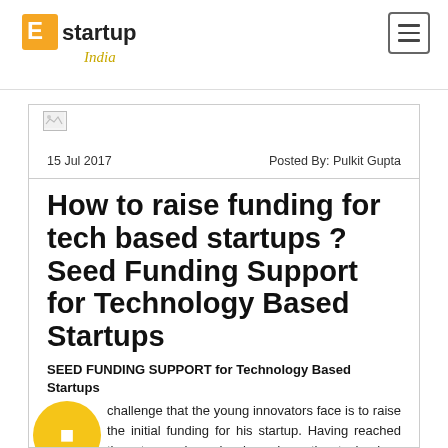estartup India
[Figure (logo): eStartup India logo with orange/yellow E icon and stylized India text]
15 Jul 2017
Posted By: Pulkit Gupta
How to raise funding for tech based startups ? Seed Funding Support for Technology Based Startups
SEED FUNDING SUPPORT for Technology Based Startups
challenge that the young innovators face is to raise the initial funding for his startup. Having reached the stage where he has done the technology demonstration and has a working